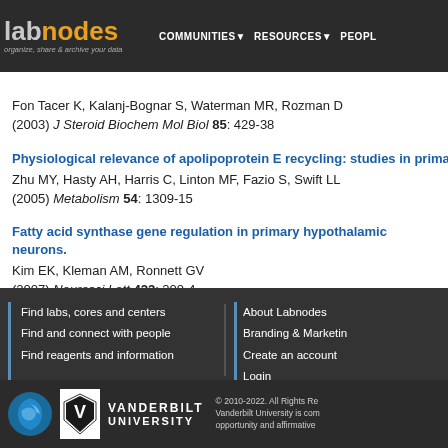labnodes | organize, share & archive your data | COMMUNITIES | RESOURCES | PEOPLE
Fon Tacer K, Kalanj-Bognar S, Waterman MR, Rozman D
(2003) J Steroid Biochem Mol Biol 85: 429-38
Physiological relevance of apolipoprotein E recycling: studies in primary m…
Zhu MY, Hasty AH, Harris C, Linton MF, Fazio S, Swift LL
(2005) Metabolism 54: 1309-15
Fatty acid synthase gene regulation in primary hypothalamic neurons.
Kim EK, Kleman AM, Ronnett GV
(2007) Neurosci Lett 423: 200-4
Find labs, cores and centers | Find and connect with people | Find reagents and information | About Labnodes | Branding & Marketing | Create an account | Login | © 2010-2022. All Rights Reserved. Vanderbilt University is committed to equal opportunity and affirmative…